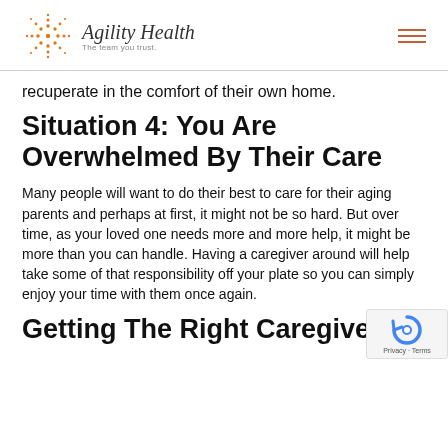Agility Health — The team you trust.
recuperate in the comfort of their own home.
Situation 4: You Are Overwhelmed By Their Care
Many people will want to do their best to care for their aging parents and perhaps at first, it might not be so hard. But over time, as your loved one needs more and more help, it might be more than you can handle. Having a caregiver around will help take some of that responsibility off your plate so you can simply enjoy your time with them once again.
Getting The Right Caregiver